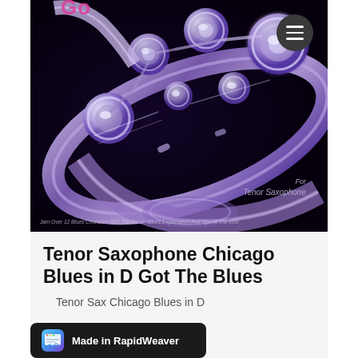[Figure (photo): Close-up photo of a tenor saxophone with purple/blue lighting on black background. Text overlay reads 'For Tenor Saxophone' and 'Jam Over 12 Blues Choruses With The Band · Blues Explanation And Tips At The End']
Tenor Saxophone Chicago Blues in D Got The Blues
Tenor Sax Chicago Blues in D
Made in RapidWeaver